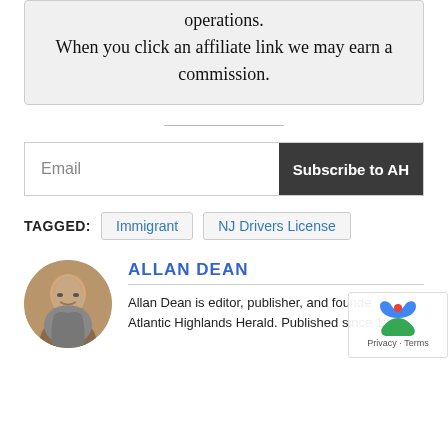operations. When you click an affiliate link we may earn a commission.
Email Subscribe to AH
TAGGED: Immigrant NJ Drivers License
ALLAN DEAN
Allan Dean is editor, publisher, and founder Atlantic Highlands Herald. Published since 1999